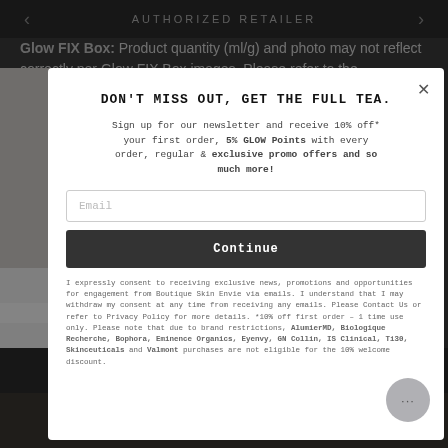AUTHORIZED RETAILER
Glow FIX Box: Product quantity (ml/g) and photo may not reflect correctly per Glow FIX Box images. Please refer to the
[Figure (photo): Woman with grey facial mask wearing towel on head, drinking from white mug while in bathtub]
DON'T MISS OUT, GET THE FULL TEA.
Sign up for our newsletter and receive 10% off* your first order, 5% GLOW Points with every order, regular & exclusive promo offers and so much more!
Email
Continue
I expressly consent to receiving exclusive news, promotions and opportunities for engagement from Boutique Skin Envie via emails. I understand that I may withdraw my consent at any time from receiving any emails. Please Contact Us or refer to Privacy Policy for more details. *10% off first order - 1 time use only. Please note that due to brand restrictions, AlumierMD, Biologique Recherche, Bophora, Eminence Organics, Eyenvy, GN Collin, IS Clinical, Ti30, Skinceuticals and Valmont purchases are not eligible for the 10% welcome discount.
SOLD OUT
NOTIFY ME WHEN AVAILABLE